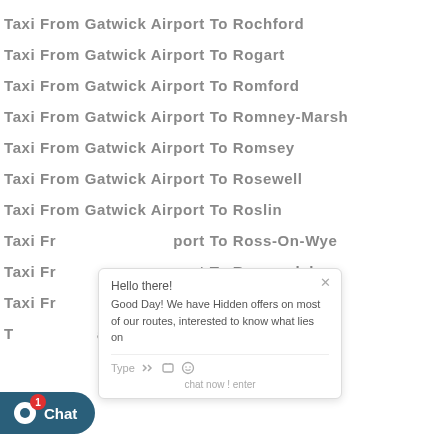Taxi From Gatwick Airport To Rochford
Taxi From Gatwick Airport To Rogart
Taxi From Gatwick Airport To Romford
Taxi From Gatwick Airport To Romney-Marsh
Taxi From Gatwick Airport To Romsey
Taxi From Gatwick Airport To Rosewell
Taxi From Gatwick Airport To Roslin
Taxi From Gatwick Airport To Ross-On-Wye
Taxi From Gatwick Airport To Rossendale
Taxi From Gatwick Airport To Rotherham
Taxi From Gatwick Airport To Rowlands Gill